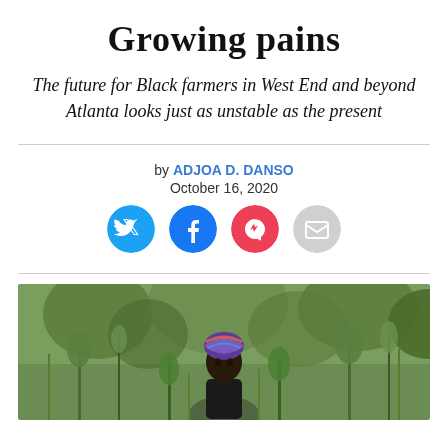Growing pains
The future for Black farmers in West End and beyond Atlanta looks just as unstable as the present
by ADJOA D. DANSO
October 16, 2020
[Figure (other): Social media sharing buttons: Twitter (blue), Facebook (blue), Pocket (red), Email (gray)]
[Figure (photo): A person wearing a colorful headwrap standing among green plants/crops in a field or garden]